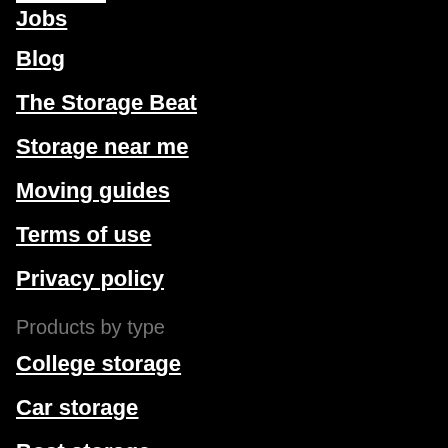Jobs
Blog
The Storage Beat
Storage near me
Moving guides
Terms of use
Privacy policy
Products by type
College storage
Car storage
Boat storage
RV storage
Portable storage
For facility owners